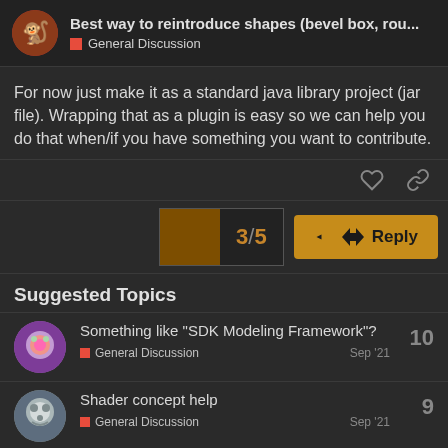Best way to reintroduce shapes (bevel box, rou... — General Discussion
For now just make it as a standard java library project (jar file). Wrapping that as a plugin is easy so we can help you do that when/if you have something you want to contribute.
Suggested Topics
Something like “SDK Modeling Framework”? — General Discussion — Sep '21 — 10 replies
Shader concept help — General Discussion — Sep '21 — 9 replies